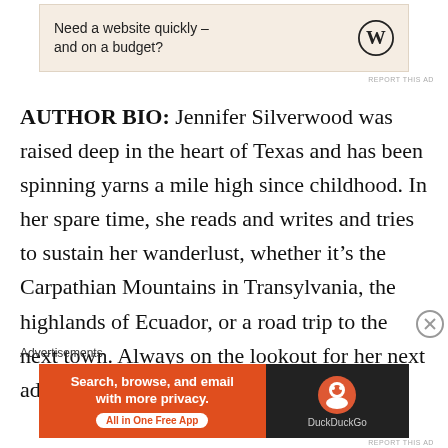[Figure (other): WordPress advertisement banner: 'Need a website quickly – and on a budget?' with WordPress logo]
REPORT THIS AD
AUTHOR BIO: Jennifer Silverwood was raised deep in the heart of Texas and has been spinning yarns a mile high since childhood. In her spare time, she reads and writes and tries to sustain her wanderlust, whether it's the Carpathian Mountains in Transylvania, the highlands of Ecuador, or a road trip to the next town. Always on the lookout for her next adventure, in print or reality, she dreams of
Advertisements
[Figure (other): DuckDuckGo advertisement: 'Search, browse, and email with more privacy. All in One Free App' with DuckDuckGo logo]